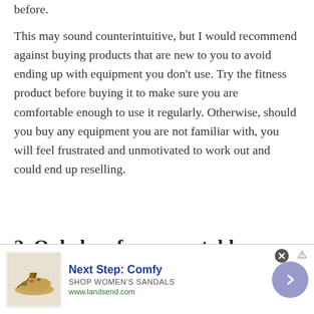before.
This may sound counterintuitive, but I would recommend against buying products that are new to you to avoid ending up with equipment you don't use. Try the fitness product before buying it to make sure you are comfortable enough to use it regularly. Otherwise, should you buy any equipment you are not familiar with, you will feel frustrated and unmotivated to work out and could end up reselling.
2. Only buy from reputable brands.
[Figure (other): Advertisement banner for Lands' End featuring a women's sandal, with text 'Next Step: Comfy', 'SHOP WOMEN'S SANDALS', 'www.landsend.com' and a navigation arrow button.]